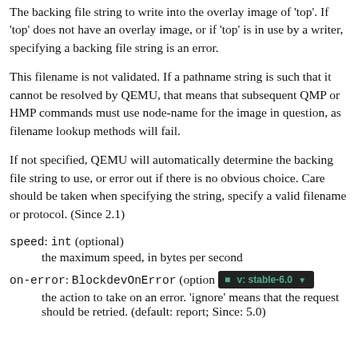The backing file string to write into the overlay image of 'top'. If 'top' does not have an overlay image, or if 'top' is in use by a writer, specifying a backing file string is an error.
This filename is not validated. If a pathname string is such that it cannot be resolved by QEMU, that means that subsequent QMP or HMP commands must use node-name for the image in question, as filename lookup methods will fail.
If not specified, QEMU will automatically determine the backing file string to use, or error out if there is no obvious choice. Care should be taken when specifying the string, specify a valid filename or protocol. (Since 2.1)
speed: int (optional)
    the maximum speed, in bytes per second
on-error: BlockdevOnError (optional)
    the action to take on an error. 'ignore' means that the request should be retried. (default: report; Since: 5.0)